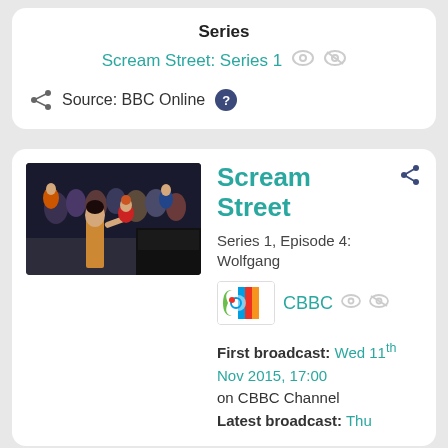Series
Scream Street: Series 1
Source: BBC Online
Scream Street
Series 1, Episode 4: Wolfgang
CBBC
First broadcast: Wed 11th Nov 2015, 17:00 on CBBC Channel
Latest broadcast: Thu